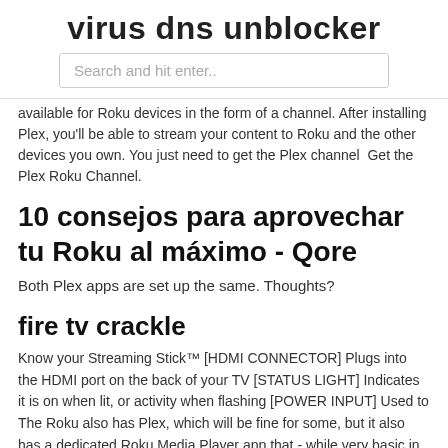virus dns unblocker
Search and hit enter..
available for Roku devices in the form of a channel. After installing Plex, you'll be able to stream your content to Roku and the other devices you own. You just need to get the Plex channel  Get the Plex Roku Channel.
10 consejos para aprovechar tu Roku al máximo - Qore
Both Plex apps are set up the same. Thoughts?
fire tv crackle
Know your Streaming Stick™ [HDMI CONNECTOR] Plugs into the HDMI port on the back of your TV [STATUS LIGHT] Indicates it is on when lit, or activity when flashing [POWER INPUT] Used to The Roku also has Plex, which will be fine for some, but it also has a dedicated Roku Media Player app that - while very basic in  And what of Roku's other players? There are little feature differences here and there, but for us the